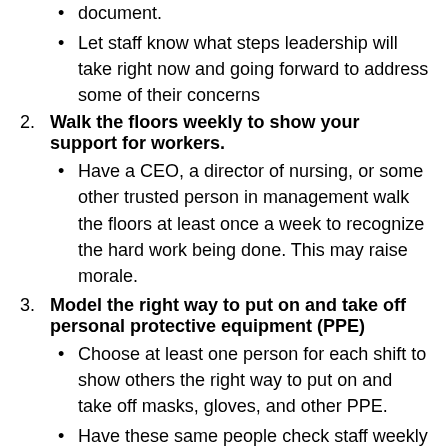document.
Let staff know what steps leadership will take right now and going forward to address some of their concerns
Walk the floors weekly to show your support for workers.
Have a CEO, a director of nursing, or some other trusted person in management walk the floors at least once a week to recognize the hard work being done. This may raise morale.
Model the right way to put on and take off personal protective equipment (PPE)
Choose at least one person for each shift to show others the right way to put on and take off masks, gloves, and other PPE.
Have these same people check staff weekly to be sure they are still using PPE the right